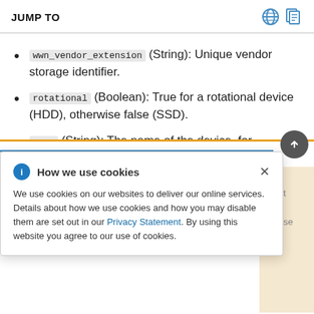JUMP TO
wwn_vendor_extension (String): Unique vendor storage identifier.
rotational (Boolean): True for a rotational device (HDD), otherwise false (SSD).
name (String): The name of the device, for example: /dev/sdb1
[Figure (screenshot): Cookie consent popup dialog with title 'How we use cookies', body text explaining cookie usage and Privacy Statement link, and a close button.]
this value can change when the node boots.